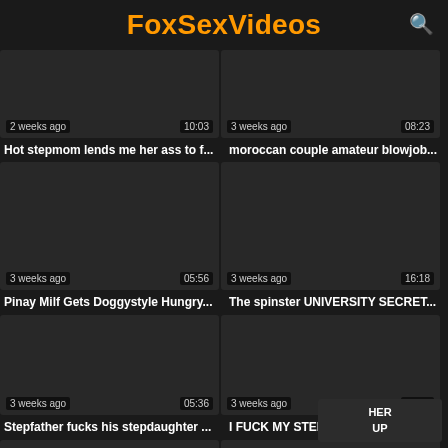FoxSexVideos
[Figure (screenshot): Video thumbnail dark placeholder, top partial row left, 2 weeks ago, 10:03]
[Figure (screenshot): Video thumbnail dark placeholder, top partial row right, 3 weeks ago, 08:23]
Hot stepmom lends me her ass to f...
moroccan couple amateur blowjob...
[Figure (screenshot): Video thumbnail dark placeholder, 3 weeks ago, 05:56]
[Figure (screenshot): Video thumbnail dark placeholder, 3 weeks ago, 16:18]
Pinay Milf Gets Doggystyle Hungry...
The spinster UNIVERSITY SECRET...
[Figure (screenshot): Video thumbnail dark placeholder, 3 weeks ago, 05:36]
[Figure (screenshot): Video thumbnail dark placeholder, 3 weeks ago, 07:05]
Stepfather fucks his stepdaughter ...
I FUCK MY STEPSISTER ON HER ...
[Figure (screenshot): Video thumbnail dark placeholder, bottom partial row left]
[Figure (screenshot): Video thumbnail dark placeholder, bottom partial row right]